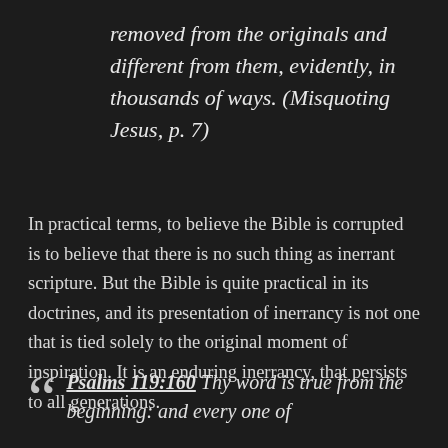removed from the originals and different from them, evidently, in thousands of ways. (Misquoting Jesus, p. 7)
In practical terms, to believe the Bible is corrupted is to believe that there is no such thing as inerrant scripture. But the Bible is quite practical in its doctrines, and its presentation of inerrancy is not one that is tied solely to the original moment of inspiration. It is an enduring inerrancy, that persists to all generations.
Psalms 119:160 Thy word is true from the beginning: and every one of thy righteous judgments endureth for